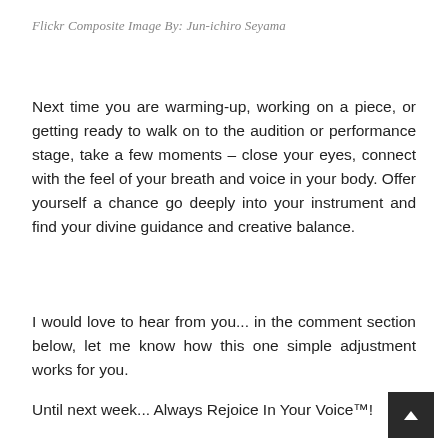Flickr Composite Image By: Jun-ichiro Seyama
Next time you are warming-up, working on a piece, or getting ready to walk on to the audition or performance stage, take a few moments – close your eyes, connect with the feel of your breath and voice in your body. Offer yourself a chance go deeply into your instrument and find your divine guidance and creative balance.
I would love to hear from you... in the comment section below, let me know how this one simple adjustment works for you.
Until next week... Always Rejoice In Your Voice™!